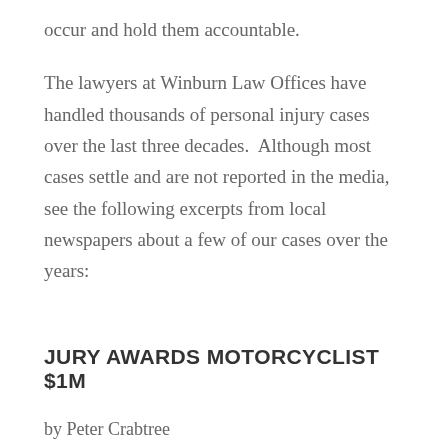occur and hold them accountable.
The lawyers at Winburn Law Offices have handled thousands of personal injury cases over the last three decades.  Although most cases settle and are not reported in the media, see the following excerpts from local newspapers about a few of our cases over the years:
JURY AWARDS MOTORCYCLIST $1M
by Peter Crabtree
Herald Staff
“BURLINGTON — A Chittenden Superior Court jury